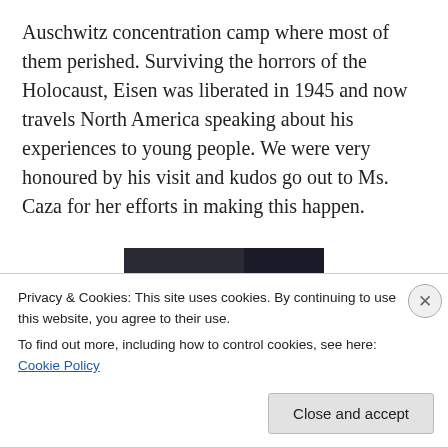Auschwitz concentration camp where most of them perished. Surviving the horrors of the Holocaust, Eisen was liberated in 1945 and now travels North America speaking about his experiences to young people. We were very honoured by his visit and kudos go out to Ms. Caza for her efforts in making this happen.
[Figure (photo): Portrait of an elderly man with white hair wearing a dark jacket, photographed against a dark background.]
Privacy & Cookies: This site uses cookies. By continuing to use this website, you agree to their use.
To find out more, including how to control cookies, see here: Cookie Policy